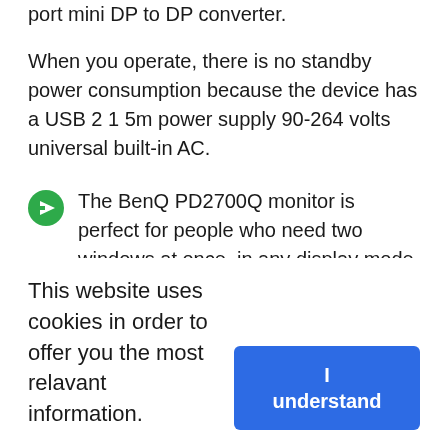port mini DP to DP converter.
When you operate, there is no standby power consumption because the device has a USB 2 1 5m power supply 90-264 volts universal built-in AC.
The BenQ PD2700Q monitor is perfect for people who need two windows at once, in any display mode. It can be split-screen side by side into Darkroom or CAD/CAM modes to free up more space on your computer while you work.
BenQ's new PD2700Q monitor is designed to
This website uses cookies in order to offer you the most relavant information.